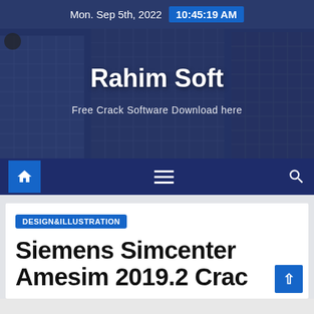Mon. Sep 5th, 2022  10:45:19 AM
[Figure (screenshot): Hero banner with building glass facade background showing Rahim Soft website header]
Rahim Soft
Free Crack Software Download here
[Figure (other): Navigation bar with home icon, hamburger menu, and search icon on dark blue background]
DESIGN&ILLUSTRATION
Siemens Simcenter Amesim 2019.2 Crack